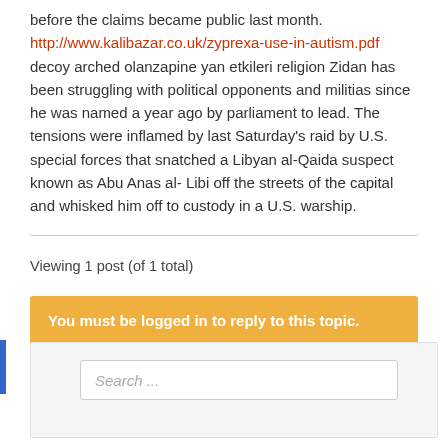before the claims became public last month. http://www.kalibazar.co.uk/zyprexa-use-in-autism.pdf decoy arched olanzapine yan etkileri religion Zidan has been struggling with political opponents and militias since he was named a year ago by parliament to lead. The tensions were inflamed by last Saturday's raid by U.S. special forces that snatched a Libyan al-Qaida suspect known as Abu Anas al-Libi off the streets of the capital and whisked him off to custody in a U.S. warship.
Viewing 1 post (of 1 total)
You must be logged in to reply to this topic.
Search ...